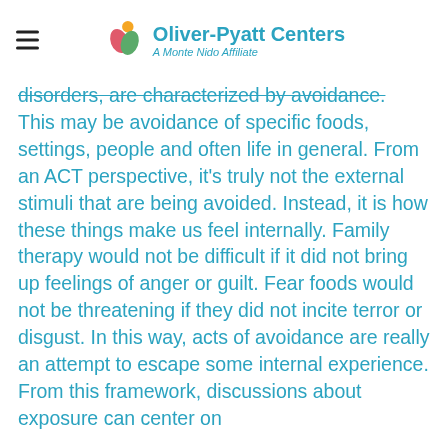Oliver-Pyatt Centers — A Monte Nido Affiliate
disorders, are characterized by avoidance. This may be avoidance of specific foods, settings, people and often life in general. From an ACT perspective, it's truly not the external stimuli that are being avoided. Instead, it is how these things make us feel internally. Family therapy would not be difficult if it did not bring up feelings of anger or guilt. Fear foods would not be threatening if they did not incite terror or disgust. In this way, acts of avoidance are really an attempt to escape some internal experience. From this framework, discussions about exposure can center on